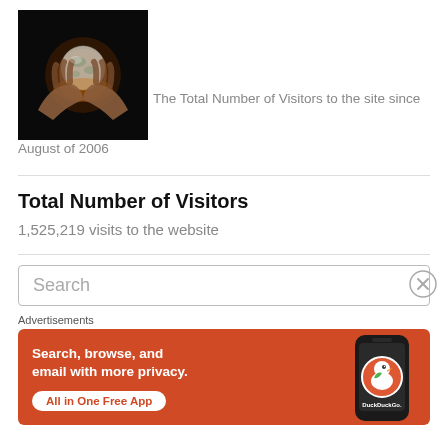[Figure (photo): Hands holding a glowing crystal ball globe against dark background]
The Total Number of Visitors to the site since August of 2006
Total Number of Visitors
1,525,219 visits to the website
Search
Advertisements
[Figure (screenshot): DuckDuckGo advertisement banner with orange background. Text reads: Search, browse, and email with more privacy. All in One Free App. Shows DuckDuckGo logo on a phone.]